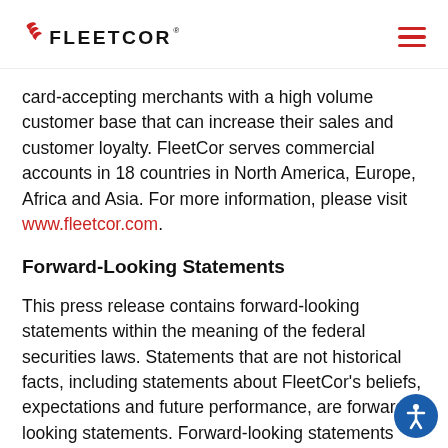FLEETCOR
card-accepting merchants with a high volume customer base that can increase their sales and customer loyalty. FleetCor serves commercial accounts in 18 countries in North America, Europe, Africa and Asia. For more information, please visit www.fleetcor.com.
Forward-Looking Statements
This press release contains forward-looking statements within the meaning of the federal securities laws. Statements that are not historical facts, including statements about FleetCor's beliefs, expectations and future performance, are forward-looking statements. Forward-looking statements can be identified by the use of words such as "anticipate,"